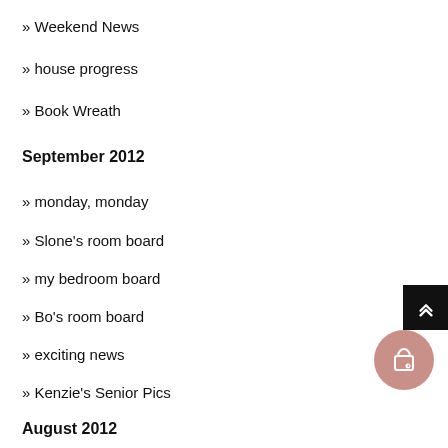» Weekend News
» house progress
» Book Wreath
September 2012
» monday, monday
» Slone's room board
» my bedroom board
» Bo's room board
» exciting news
» Kenzie's Senior Pics
August 2012
» first day again